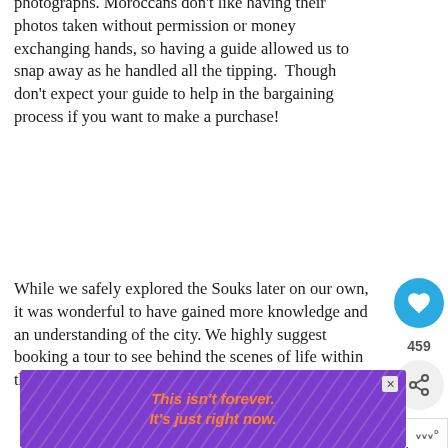photographs. Moroccans don't like having their photos taken without permission or money exchanging hands, so having a guide allowed us to snap away as he handled all the tipping.  Though don't expect your guide to help in the bargaining process if you want to make a purchase!
While we safely explored the Souks later on our own, it was wonderful to have gained more knowledge and an understanding of the city. We highly suggest booking a tour to see behind the scenes of life within the Medina.
[Figure (screenshot): Purple/violet advertisement banner with diagonal line pattern. Orange italic text reading 'This isn't forever. It's just right now.' with a close (X) button.]